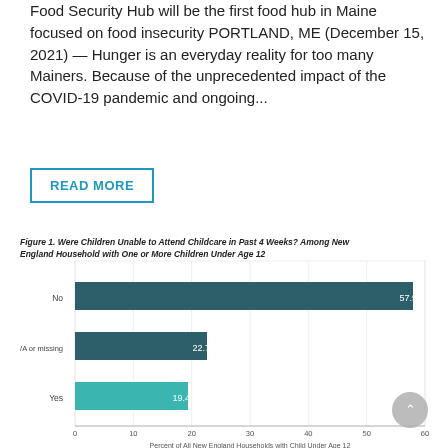Food Security Hub will be the first food hub in Maine focused on food insecurity PORTLAND, ME (December 15, 2021) — Hunger is an everyday reality for too many Mainers. Because of the unprecedented impact of the COVID-19 pandemic and ongoing...
READ MORE
Figure 1. Were Children Unable to Attend Childcare in Past 4 Weeks? Among New England Household with One or More Children Under Age 12
[Figure (bar-chart): Figure 1. Were Children Unable to Attend Childcare in Past 4 Weeks? Among New England Household with One or More Children Under Age 12]